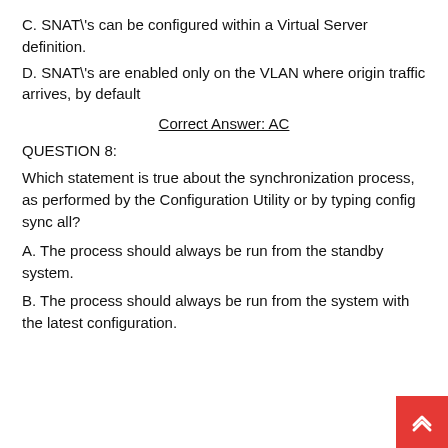C. SNAT\'s can be configured within a Virtual Server definition.
D. SNAT\'s are enabled only on the VLAN where origin traffic arrives, by default
Correct Answer: AC
QUESTION 8:
Which statement is true about the synchronization process, as performed by the Configuration Utility or by typing config sync all?
A. The process should always be run from the standby system.
B. The process should always be run from the system with the latest configuration.